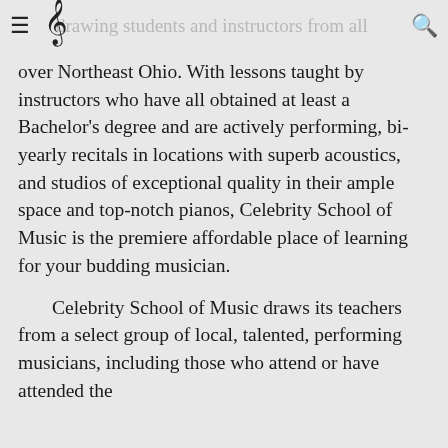≡ ♩ drawing students and instructors from all 🔍
over Northeast Ohio. With lessons taught by instructors who have all obtained at least a Bachelor's degree and are actively performing, bi-yearly recitals in locations with superb acoustics, and studios of exceptional quality in their ample space and top-notch pianos, Celebrity School of Music is the premiere affordable place of learning for your budding musician.
Celebrity School of Music draws its teachers from a select group of local, talented, performing musicians, including those who attend or have attended the